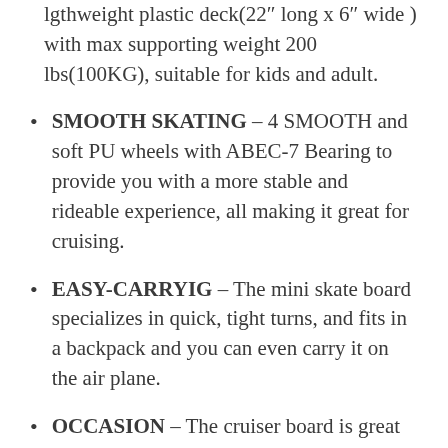lgthweight plastic deck(22" long x 6" wide ) with max supporting weight 200 lbs(100KG), suitable for kids and adult.
SMOOTH SKATING – 4 SMOOTH and soft PU wheels with ABEC-7 Bearing to provide you with a more stable and rideable experience, all making it great for cruising.
EASY-CARRYIG – The mini skate board specializes in quick, tight turns, and fits in a backpack and you can even carry it on the air plane.
OCCASION – The cruiser board is great for kids & adult beginners skating street, skate parks, ramps, pools, and other smooth surfaces or even rough ground.